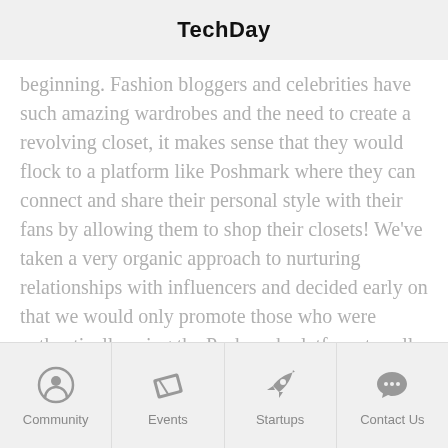TechDay
beginning. Fashion bloggers and celebrities have such amazing wardrobes and the need to create a revolving closet, it makes sense that they would flock to a platform like Poshmark where they can connect and share their personal style with their fans by allowing them to shop their closets! We've taken a very organic approach to nurturing relationships with influencers and decided early on that we would only promote those who were authentically using the Poshmark platform to sell their style.

In the early years, we would throw live Posh Parties in different cities around the country
Community | Events | Startups | Contact Us